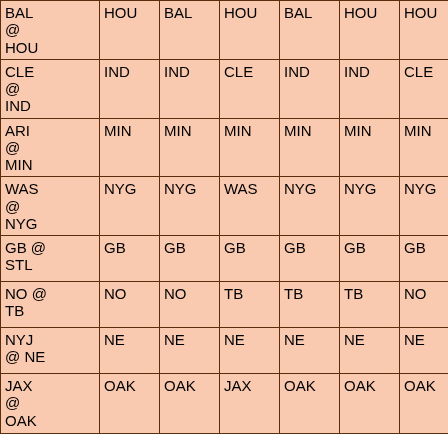| BAL @ HOU | HOU | BAL | HOU | BAL | HOU | HOU | HOU |
| CLE @ IND | IND | IND | CLE | IND | IND | CLE | IND |
| ARI @ MIN | MIN | MIN | MIN | MIN | MIN | MIN | MIN |
| WAS @ NYG | NYG | NYG | WAS | NYG | NYG | NYG | NYG |
| GB @ STL | GB | GB | GB | GB | GB | GB | GB |
| NO @ TB | NO | NO | TB | TB | TB | NO | NO |
| NYJ @ NE | NE | NE | NE | NE | NE | NE | NE |
| JAX @ OAK | OAK | OAK | JAX | OAK | OAK | OAK | OAK |